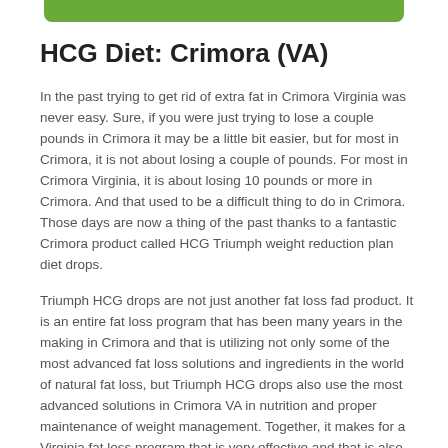[Figure (other): Green decorative bar at top of page]
HCG Diet: Crimora (VA)
In the past trying to get rid of extra fat in Crimora Virginia was never easy. Sure, if you were just trying to lose a couple pounds in Crimora it may be a little bit easier, but for most in Crimora, it is not about losing a couple of pounds. For most in Crimora Virginia, it is about losing 10 pounds or more in Crimora. And that used to be a difficult thing to do in Crimora. Those days are now a thing of the past thanks to a fantastic Crimora product called HCG Triumph weight reduction plan diet drops.
Triumph HCG drops are not just another fat loss fad product. It is an entire fat loss program that has been many years in the making in Crimora and that is utilizing not only some of the most advanced fat loss solutions and ingredients in the world of natural fat loss, but Triumph HCG drops also use the most advanced solutions in Crimora VA in nutrition and proper maintenance of weight management. Together, it makes for a Virginia fat loss program that is very effective and that is also incredibly quick in Crimora. With the Triumph HCG Drops, you will lose bodyweight more quickly and